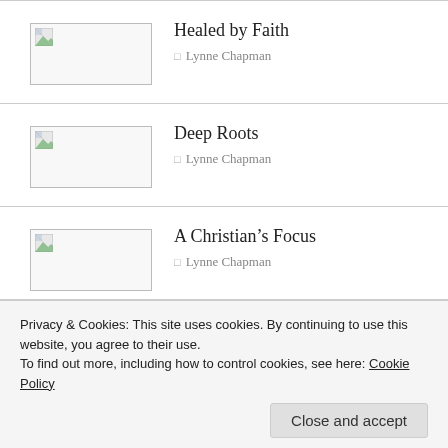[Figure (other): Thumbnail placeholder image for Healed by Faith]
Healed by Faith
Lynne Chapman
[Figure (other): Thumbnail placeholder image for Deep Roots]
Deep Roots
Lynne Chapman
[Figure (other): Thumbnail placeholder image for A Christian's Focus]
A Christian's Focus
Lynne Chapman
Privacy & Cookies: This site uses cookies. By continuing to use this website, you agree to their use. To find out more, including how to control cookies, see here: Cookie Policy
Close and accept